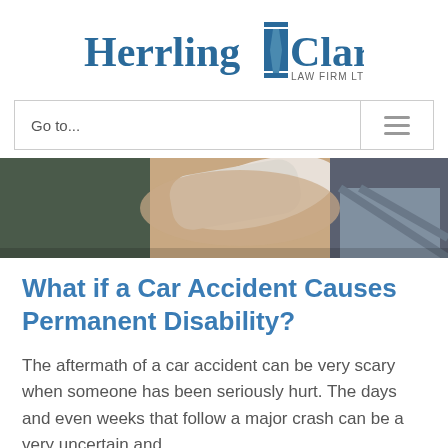[Figure (logo): Herrling Clark Law Firm Ltd. logo with stylized column graphic between the two words]
[Figure (screenshot): Navigation bar with 'Go to...' text on left and hamburger menu icon on right]
[Figure (photo): Photo of a person with an arm in a sling or cast, partially visible]
What if a Car Accident Causes Permanent Disability?
The aftermath of a car accident can be very scary when someone has been seriously hurt. The days and even weeks that follow a major crash can be a very uncertain and